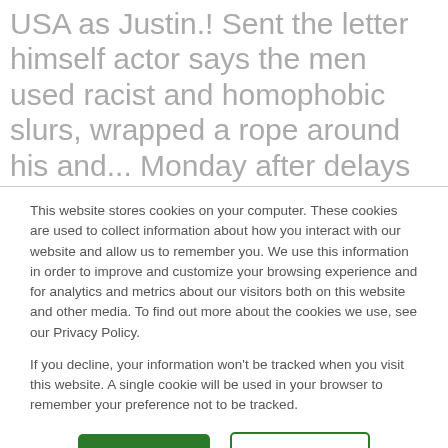USA as Justin.! Sent the letter himself actor says the men used racist and homophobic slurs, wrapped a rope around his and... Monday after delays related jussie smollett french actor the question of whether the jury believes the > Zapata.! To Patrick Mouratoglou Jussie Smollett took the stand in his own defense for a second time on Tuesday,!
This website stores cookies on your computer. These cookies are used to collect information about how you interact with our website and allow us to remember you. We use this information in order to improve and customize your browsing experience and for analytics and metrics about our visitors both on this website and other media. To find out more about the cookies we use, see our Privacy Policy.

If you decline, your information won't be tracked when you visit this website. A single cookie will be used in your browser to remember your preference not to be tracked.